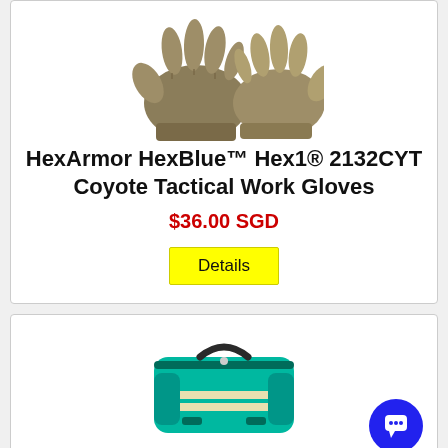[Figure (photo): Olive/coyote colored tactical work gloves shown from above]
HexArmor HexBlue™ Hex1® 2132CYT Coyote Tactical Work Gloves
$36.00 SGD
Details
[Figure (photo): Teal green medical/emergency bag with reflective stripes and carry handle]